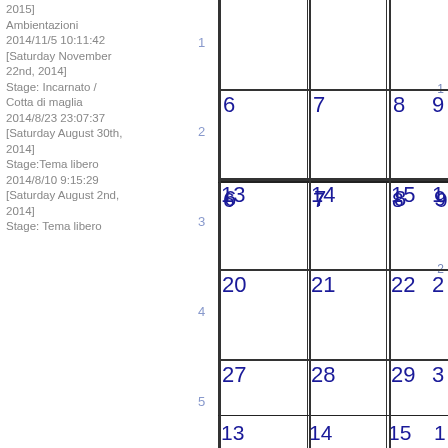2015] Ambientazioni 2014/11/5 10:11:42 [Saturday November 22nd, 2014] Stage: Incarnato / Cotta di maglia 2014/8/23 23:07:37 [Saturday August 30th, 2014] Stage:Tema libero 2014/8/10 9:15:29 [Saturday August 2nd, 2014] Stage: Tema libero
[Figure (other): Calendar grid showing partial month view with dates 6-9, 13-15, 20-22, 27-29 and partial column, with week numbers 1-5 on left side]